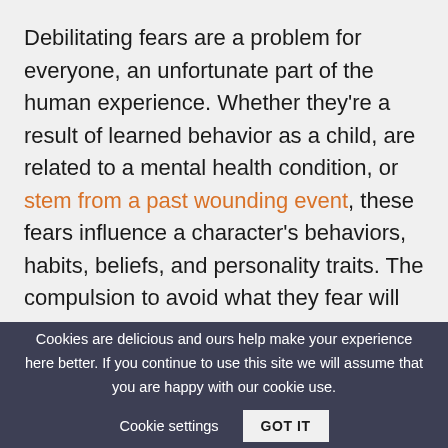Debilitating fears are a problem for everyone, an unfortunate part of the human experience. Whether they're a result of learned behavior as a child, are related to a mental health condition, or stem from a past wounding event, these fears influence a character's behaviors, habits, beliefs, and personality traits. The compulsion to avoid what they fear will drive characters away
Cookies are delicious and ours help make your experience here better. If you continue to use this site we will assume that you are happy with our cookie use.   Cookie settings   GOT IT